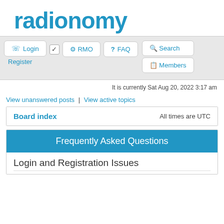[Figure (logo): Radionomy logo in bold blue text]
Login | Register | RMO | FAQ | Search | Members
It is currently Sat Aug 20, 2022 3:17 am
View unanswered posts | View active topics
Board index    All times are UTC
Frequently Asked Questions
Login and Registration Issues